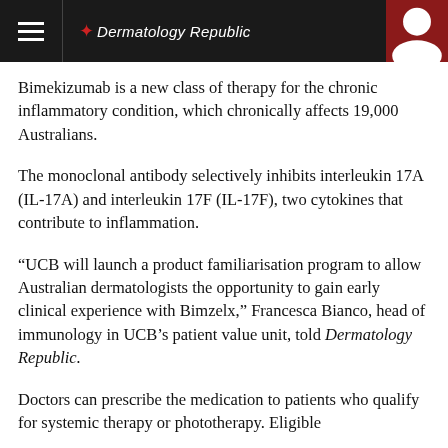Dermatology Republic
Bimekizumab is a new class of therapy for the chronic inflammatory condition, which chronically affects 19,000 Australians.
The monoclonal antibody selectively inhibits interleukin 17A (IL-17A) and interleukin 17F (IL-17F), two cytokines that contribute to inflammation.
“UCB will launch a product familiarisation program to allow Australian dermatologists the opportunity to gain early clinical experience with Bimzelx,” Francesca Bianco, head of immunology in UCB’s patient value unit, told Dermatology Republic.
Doctors can prescribe the medication to patients who qualify for systemic therapy or phototherapy. Eligible